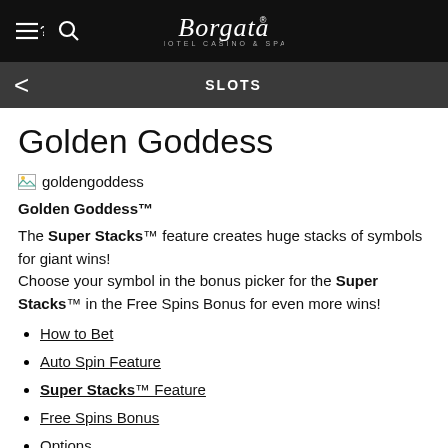Borgata Hotel Casino & Spa
SLOTS
Golden Goddess
[Figure (other): Broken image placeholder labeled 'goldengoddess']
Golden Goddess™
The Super Stacks™ feature creates huge stacks of symbols for giant wins!
Choose your symbol in the bonus picker for the Super Stacks™ in the Free Spins Bonus for even more wins!
How to Bet
Auto Spin Feature
Super Stacks™ Feature
Free Spins Bonus
Options